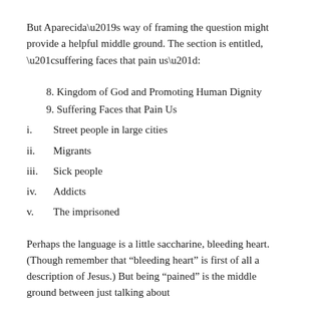But Aparecida’s way of framing the question might provide a helpful middle ground. The section is entitled, “suffering faces that pain us”:
8. Kingdom of God and Promoting Human Dignity
9. Suffering Faces that Pain Us
i.      Street people in large cities
ii.     Migrants
iii.    Sick people
iv.     Addicts
v.      The imprisoned
Perhaps the language is a little saccharine, bleeding heart.  (Though remember that “bleeding heart” is first of all a description of Jesus.) But being “pained” is the middle ground between just talking about